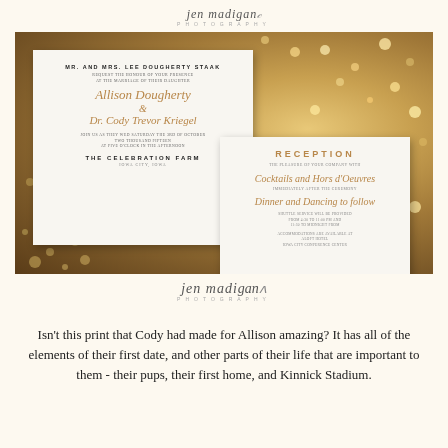jen madigan photography
[Figure (photo): Wedding invitation suite displayed on a gold sequin/glitter fabric background. Two cream/ivory cards visible: main invitation card reading 'MR. AND MRS. LEE DOUGHERTY STAAK request the honour of your presence at the marriage of their daughter Allison Dougherty & Dr. Cody Trevor Kriegel ... THE CELEBRATION FARM Iowa City, Iowa' and a reception card reading 'RECEPTION ... Cocktails and Hors d'Oeuvres immediately after the ceremony Dinner and Dancing to follow ...']
jen madigan photography
Isn't this print that Cody had made for Allison amazing? It has all of the elements of their first date, and other parts of their life that are important to them - their pups, their first home, and Kinnick Stadium.